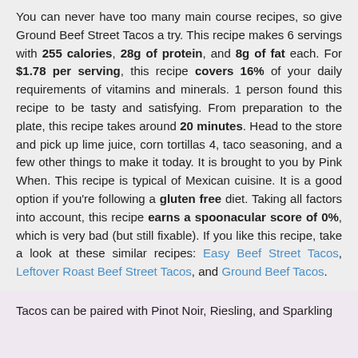You can never have too many main course recipes, so give Ground Beef Street Tacos a try. This recipe makes 6 servings with 255 calories, 28g of protein, and 8g of fat each. For $1.78 per serving, this recipe covers 16% of your daily requirements of vitamins and minerals. 1 person found this recipe to be tasty and satisfying. From preparation to the plate, this recipe takes around 20 minutes. Head to the store and pick up lime juice, corn tortillas 4, taco seasoning, and a few other things to make it today. It is brought to you by Pink When. This recipe is typical of Mexican cuisine. It is a good option if you're following a gluten free diet. Taking all factors into account, this recipe earns a spoonacular score of 0%, which is very bad (but still fixable). If you like this recipe, take a look at these similar recipes: Easy Beef Street Tacos, Leftover Roast Beef Street Tacos, and Ground Beef Tacos.
Tacos can be paired with Pinot Noir, Riesling, and Sparkling...